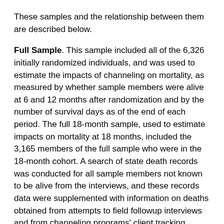These samples and the relationship between them are described below.
Full Sample. This sample included all of the 6,326 initially randomized individuals, and was used to estimate the impacts of channeling on mortality, as measured by whether sample members were alive at 6 and 12 months after randomization and by the number of survival days as of the end of each period. The full 18-month sample, used to estimate impacts on mortality at 18 months, included the 3,165 members of the full sample who were in the 18-month cohort. A search of state death records was conducted for all sample members not known to be alive from the interviews, and these records data were supplemented with information on deaths obtained from attempts to field followup interviews and from channeling programs' client tracking system. Sample members identified as dead from either